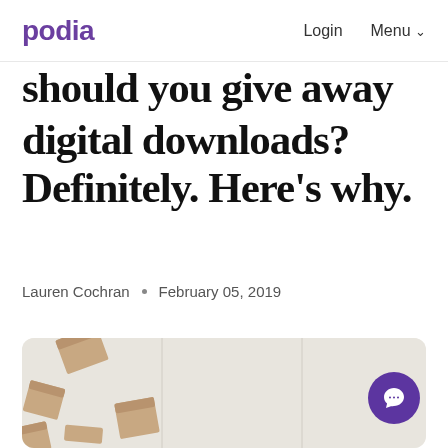podia  Login  Menu
Should you give away free digital downloads? Definitely. Here's why.
Lauren Cochran  •  February 05, 2019
[Figure (photo): Overhead photo of brown cardboard boxes / wooden blocks scattered on a light grey wooden surface]